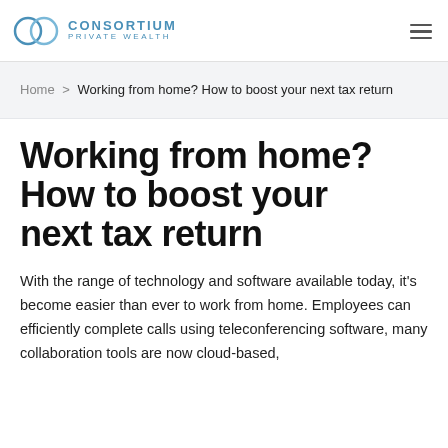CONSORTIUM PRIVATE WEALTH
Home > Working from home? How to boost your next tax return
Working from home? How to boost your next tax return
With the range of technology and software available today, it's become easier than ever to work from home. Employees can efficiently complete calls using teleconferencing software, many collaboration tools are now cloud-based,